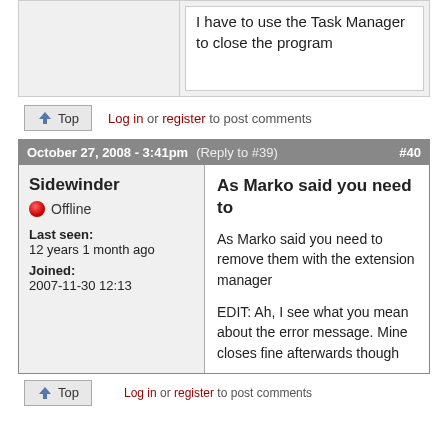I have to use the Task Manager to close the program
Top
Log in or register to post comments
October 27, 2008 - 3:41pm (Reply to #39) #40
Sidewinder
Offline
Last seen: 12 years 1 month ago
Joined: 2007-11-30 12:13
As Marko said you need to
As Marko said you need to remove them with the extension manager
EDIT: Ah, I see what you mean about the error message. Mine closes fine afterwards though
Top
Log in or register to post comments